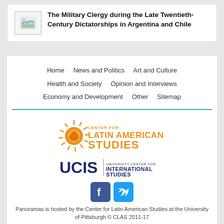[Figure (illustration): Thumbnail image placeholder with landscape/document icon]
The Military Clergy during the Late Twentieth-Century Dictatorships in Argentina and Chile
Home   News and Politics   Art and Culture   Health and Society   Opinion and Interviews   Economy and Development   Other   Sitemap
[Figure (logo): Center for Latin American Studies / UCIS University Center for International Studies logo]
[Figure (logo): Facebook and Twitter social media icons]
Panoramas is hosted by the Center for Latin American Studies at the University of Pittsburgh © CLAS 2011-17